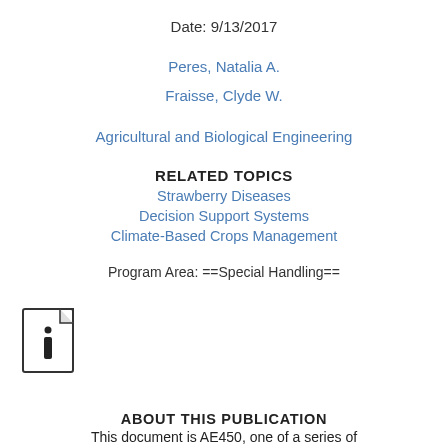Date: 9/13/2017
Peres, Natalia A.
Fraisse, Clyde W.
Agricultural and Biological Engineering
RELATED TOPICS
Strawberry Diseases
Decision Support Systems
Climate-Based Crops Management
Program Area: ==Special Handling==
[Figure (illustration): Document info icon — a square page with folded corner and a bold letter 'i' in the center]
ABOUT THIS PUBLICATION
This document is AE450, one of a series of